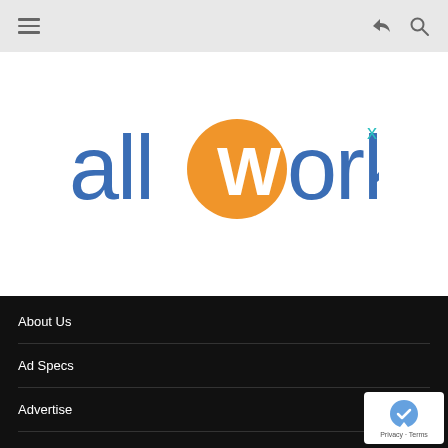Navigation header with hamburger menu, share icon, and search icon
[Figure (logo): allwork.space logo: blue text 'all' and 'ork' with orange circle containing white 'W' letter, with teal 'x' superscript]
About Us
Ad Specs
Advertise
Editorial Calendar 2022
Events
Free Email Newsletter